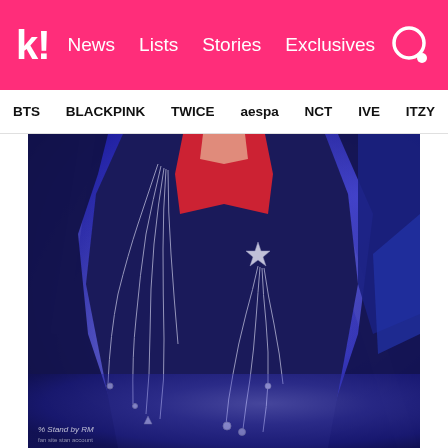k! News  Lists  Stories  Exclusives
BTS
BLACKPINK
TWICE
aespa
NCT
IVE
ITZY
[Figure (photo): Close-up photo of a K-pop performer wearing a dark navy/black blazer with a red inner shirt. Multiple layered chain necklaces with star and charm pendants are draped across the chest. The background is illuminated with blue and purple stage lighting. Watermark reads '% Stand by RM' with additional small text.]